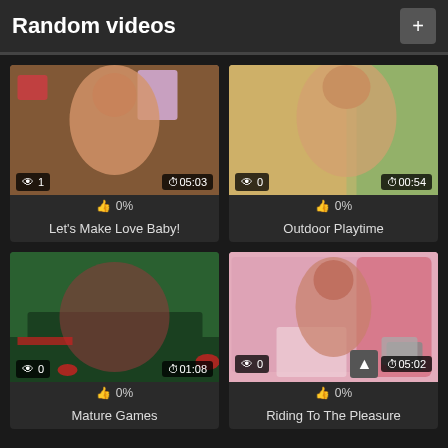Random videos
[Figure (screenshot): Video thumbnail: woman in bedroom setting]
👁 1   ⏱05:03
👍 0%
Let's Make Love Baby!
[Figure (screenshot): Video thumbnail: blonde woman outdoors]
👁 0   ⏱00:54
👍 0%
Outdoor Playtime
[Figure (screenshot): Video thumbnail: woman on pool table]
👁 0   ⏱01:08
👍 0%
Mature Games
[Figure (screenshot): Video thumbnail: woman in pink room]
👁 0   ⏱05:02
👍 0%
Riding To The Pleasure